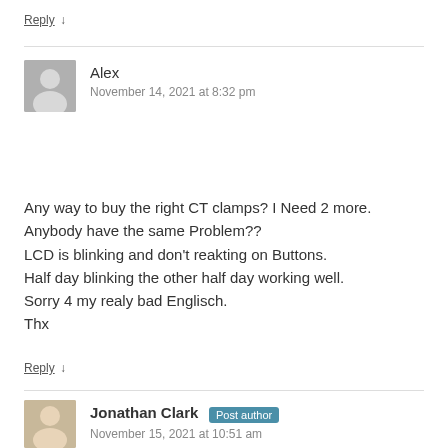Reply ↓
Alex
November 14, 2021 at 8:32 pm
Any way to buy the right CT clamps? I Need 2 more.
Anybody have the same Problem??
LCD is blinking and don't reakting on Buttons.
Half day blinking the other half day working well.
Sorry 4 my realy bad Englisch.
Thx
Reply ↓
Jonathan Clark  Post author
November 15, 2021 at 10:51 am